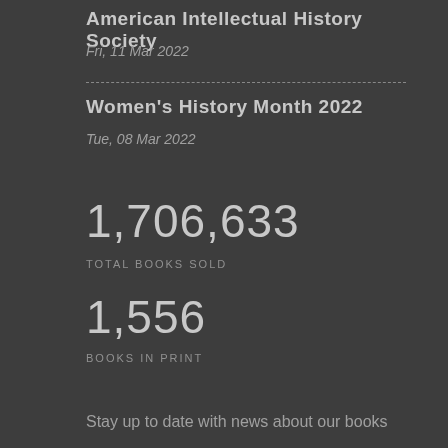American Intellectual History Society
Fri, 11 Mar 2022
Women's History Month 2022
Tue, 08 Mar 2022
1,706,633
TOTAL BOOKS SOLD
1,556
BOOKS IN PRINT
Stay up to date with news about our books